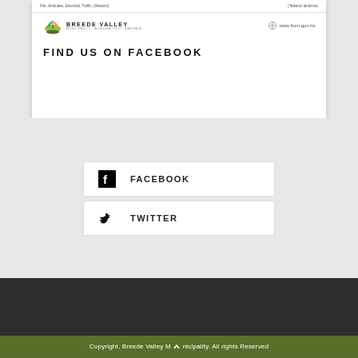[Figure (logo): Breede Valley Municipality logo with leaf/plant icon and website www.bvm.gov.za]
FIND US ON FACEBOOK
[Figure (infographic): Facebook button with Facebook icon and label FACEBOOK]
[Figure (infographic): Twitter button with Twitter bird icon and label TWITTER]
Copyright, Breede Valley Municipality. All rights Reserved